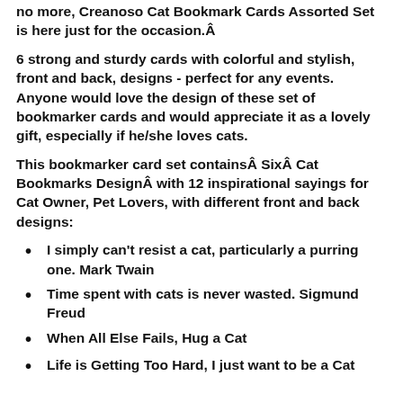no more, Creanoso Cat Bookmark Cards Assorted Set is here just for the occasion.Â
6 strong and sturdy cards with colorful and stylish, front and back, designs - perfect for any events. Anyone would love the design of these set of bookmarker cards and would appreciate it as a lovely gift, especially if he/she loves cats.
This bookmarker card set containsÂ SixÂ Cat Bookmarks DesignÂ with 12 inspirational sayings for Cat Owner, Pet Lovers, with different front and back designs:
I simply can’t resist a cat, particularly a purring one. Mark Twain
Time spent with cats is never wasted. Sigmund Freud
When All Else Fails, Hug a Cat
Life is Getting Too Hard, I just want to be a Cat